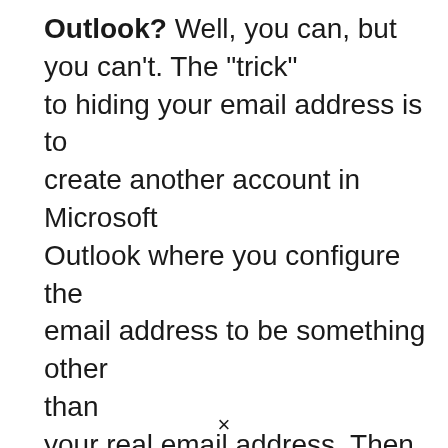Outlook? Well, you can, but you can't. The "trick" to hiding your email address is to create another account in Microsoft Outlook where you configure the email address to be something other than your real email address. Then use that account to send your email. The "can't" part is that if you're really expecting this to be true anonymity, there are still